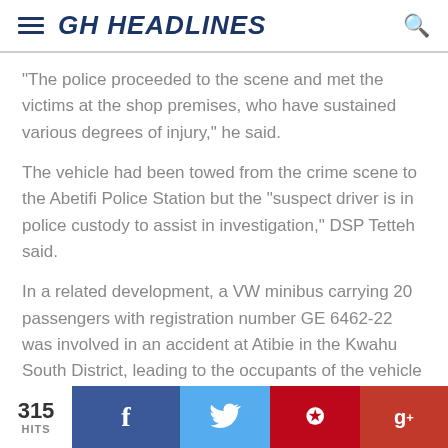GH HEADLINES
"The police proceeded to the scene and met the victims at the shop premises, who have sustained various degrees of injury," he said.
The vehicle had been towed from the crime scene to the Abetifi Police Station but the "suspect driver is in police custody to assist in investigation," DSP Tetteh said.
In a related development, a VW minibus carrying 20 passengers with registration number GE 6462-22 was involved in an accident at Atibie in the Kwahu South District, leading to the occupants of the vehicle sustaining injuries.
315 HITS | Facebook | Twitter | Pinterest | Google+